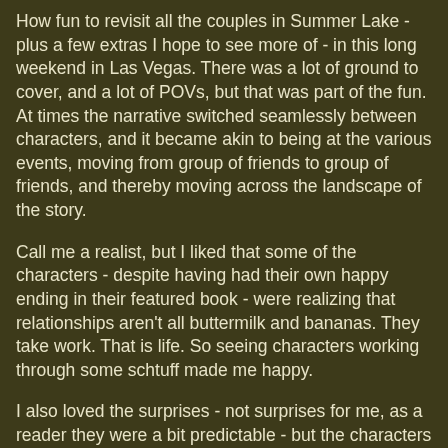How fun to revisit all the couples in Summer Lake - plus a few extras I hope to see more of - in this long weekend in Las Vegas. There was a lot of ground to cover, and a lot of POVs, but that was part of the fun. At times the narrative switched seamlessly between characters, and it became akin to being at the various events, moving from group of friends to group of friends, and thereby moving across the landscape of the story.
Call me a realist, but I liked that some of the characters - despite having had their own happy ending in their featured book - were realizing that relationships aren't all buttermilk and bananas. They take work. That is life. So seeing characters working through some schtuff made me happy.
I also loved the surprises - not surprises for me, as a reader they were a bit predictable - but the characters showing up surprise for each other...